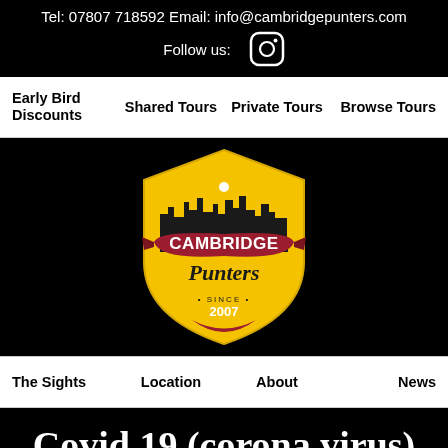Tel: 07807 718592 Email: info@cambridgepunters.com
Follow us: [Instagram icon]
Early Bird Discounts | Shared Tours | Private Tours | Browse Tours
[Figure (logo): Cambridge Punters logo — a golden shield with a city silhouette, a crimson ribbon banner reading CAMBRIDGE in white bold text, and 'Punters' in cursive below. Text at bottom reads '• SINCE • 2007'.]
The Sights | Location | About | News
Covid 19 (corona virus)